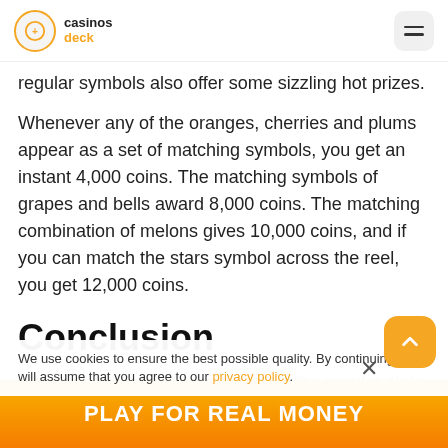casinos deck
regular symbols also offer some sizzling hot prizes.
Whenever any of the oranges, cherries and plums appear as a set of matching symbols, you get an instant 4,000 coins. The matching symbols of grapes and bells award 8,000 coins. The matching combination of melons gives 10,000 coins, and if you can match the stars symbol across the reel, you get 12,000 coins.
Conclusion
Although this game does not have the regular slots features like bonus games and free spins, the double gamble feature of this slot allows you the opportunity double your wins.
We use cookies to ensure the best possible quality. By continuing, we will assume that you agree to our privacy policy.
PLAY FOR REAL MONEY